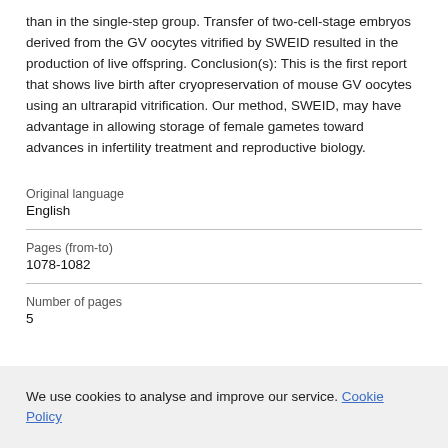than in the single-step group. Transfer of two-cell-stage embryos derived from the GV oocytes vitrified by SWEID resulted in the production of live offspring. Conclusion(s): This is the first report that shows live birth after cryopreservation of mouse GV oocytes using an ultrarapid vitrification. Our method, SWEID, may have advantage in allowing storage of female gametes toward advances in infertility treatment and reproductive biology.
| Original language | English |
| Pages (from-to) | 1078-1082 |
| Number of pages | 5 |
We use cookies to analyse and improve our service. Cookie Policy